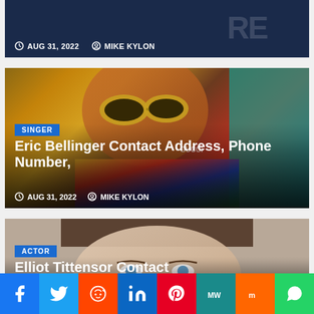[Figure (photo): Top cropped article card with dark blue background, date AUG 31, 2022 and author MIKE KYLON]
AUG 31, 2022   MIKE KYLON
[Figure (photo): Eric Bellinger wearing yellow sunglasses and colorful Gucci outfit]
SINGER
Eric Bellinger Contact Address, Phone Number,
AUG 31, 2022   MIKE KYLON
[Figure (photo): Elliot Tittensor close-up face photo]
ACTOR
Elliot Tittensor Contact
[Figure (infographic): Social sharing bar with Facebook, Twitter, Reddit, LinkedIn, Pinterest, MeWe, Mix, WhatsApp, and More buttons]